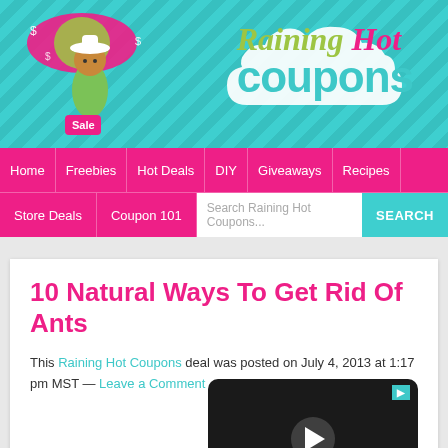[Figure (logo): Raining Hot Coupons website logo with teal background, chevron pattern, cartoon woman with umbrella and shopping bags, and stylized text logo]
Home | Freebies | Hot Deals | DIY | Giveaways | Recipes | Store Deals | Coupon 101 | Search Raining Hot Coupons... SEARCH
10 Natural Ways To Get Rid Of Ants
This Raining Hot Coupons deal was posted on July 4, 2013 at 1:17 pm MST — Leave a Comment
[Figure (screenshot): Video thumbnail showing a dark/black video player with a play button in the center]